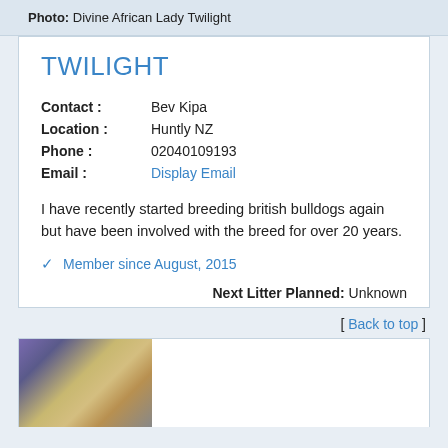Photo: Divine African Lady Twilight
TWILIGHT
| Contact : | Bev Kipa |
| Location : | Huntly NZ |
| Phone : | 02040109193 |
| Email : | Display Email |
I have recently started breeding british bulldogs again but have been involved with the breed for over 20 years.
✓ Member since August, 2015
Next Litter Planned: Unknown
[ Back to top ]
[Figure (photo): Partial view of a bulldog photo at the bottom of the page]